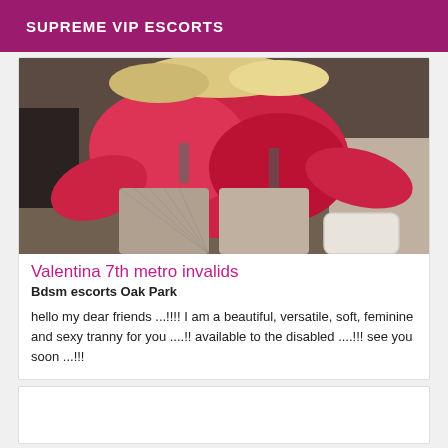SUPREME VIP ESCORTS
[Figure (photo): Photo of a person wearing a red outfit, crouching, with fishnet stockings and white leg warmers, against a dark sofa background.]
Valentina 7th metro invalids
Bdsm escorts Oak Park
hello my dear friends ...!!!! I am a beautiful, versatile, soft, feminine and sexy tranny for you ....!! available to the disabled ....!!! see you soon ...!!!